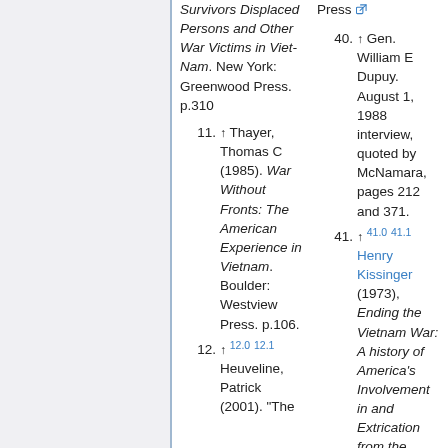Survivors Displaced Persons and Other War Victims in Viet-Nam. New York: Greenwood Press. p.310
11. ↑ Thayer, Thomas C (1985). War Without Fronts: The American Experience in Vietnam. Boulder: Westview Press. p.106.
12. ↑ 12.0 12.1 Heuveline, Patrick (2001). "The...
40. ↑ Gen. William E Dupuy. August 1, 1988 interview, quoted by McNamara, pages 212 and 371.
41. ↑ 41.0 41.1 Henry Kissinger (1973), Ending the Vietnam War: A history of America's Involvement in and Extrication from the Vietnam War, Simon & Schuster, p. 50 Cite